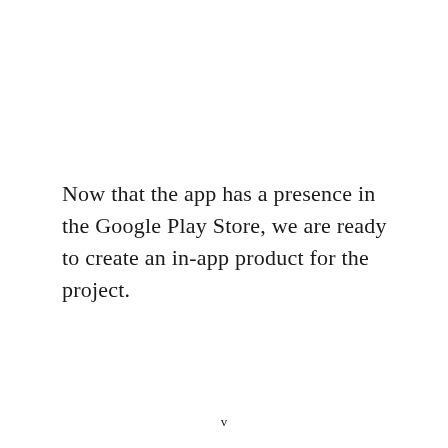Now that the app has a presence in the Google Play Store, we are ready to create an in-app product for the project.
v